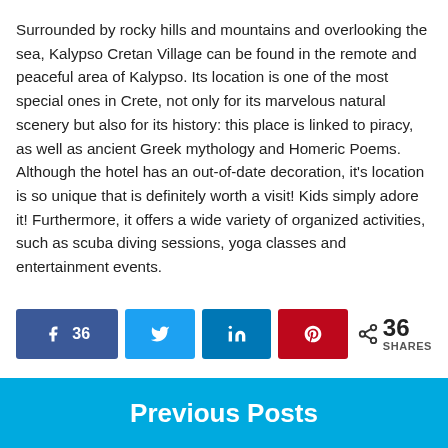Surrounded by rocky hills and mountains and overlooking the sea, Kalypso Cretan Village can be found in the remote and peaceful area of Kalypso. Its location is one of the most special ones in Crete, not only for its marvelous natural scenery but also for its history: this place is linked to piracy, as well as ancient Greek mythology and Homeric Poems. Although the hotel has an out-of-date decoration, it's location is so unique that is definitely worth a visit! Kids simply adore it! Furthermore, it offers a wide variety of organized activities, such as scuba diving sessions, yoga classes and entertainment events.
[Figure (infographic): Social share bar with Facebook (36), Twitter, LinkedIn, Pinterest buttons and a total of 36 SHARES]
Previous Posts